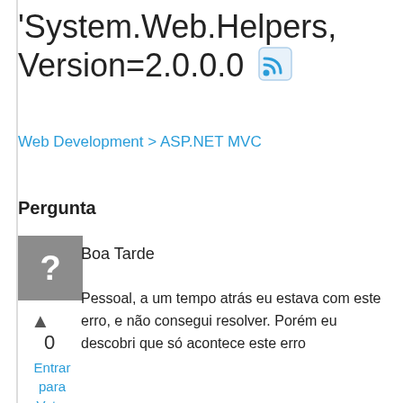'System.Web.Helpers, Version=2.0.0.0
Web Development > ASP.NET MVC
Pergunta
[Figure (illustration): Grey square icon with a white question mark]
▲
0
Entrar para Votar
Boa Tarde
Pessoal, a um tempo atrás eu estava com este erro, e não consegui resolver. Porém eu descobri que só acontece este erro